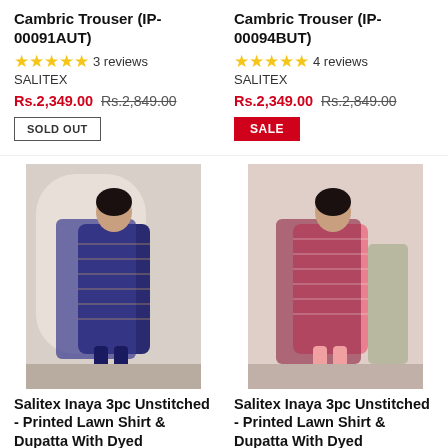Cambric Trouser (IP-00091AUT)
★★★★★ 3 reviews
SALITEX
Rs.2,349.00  Rs.2,849.00
SOLD OUT
Cambric Trouser (IP-00094BUT)
★★★★★ 4 reviews
SALITEX
Rs.2,349.00  Rs.2,849.00
SALE
[Figure (photo): Woman wearing blue printed 3pc lawn suit with dupatta]
Salitex Inaya 3pc Unstitched - Printed Lawn Shirt & Dupatta With Dyed
[Figure (photo): Woman wearing pink printed 3pc lawn suit with dupatta]
Salitex Inaya 3pc Unstitched - Printed Lawn Shirt & Dupatta With Dyed